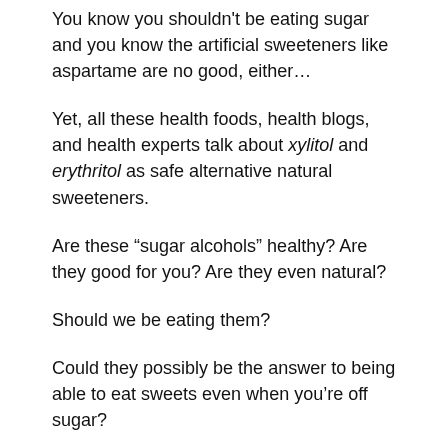You know you shouldn't be eating sugar and you know the artificial sweeteners like aspartame are no good, either…
Yet, all these health foods, health blogs, and health experts talk about xylitol and erythritol as safe alternative natural sweeteners.
Are these “sugar alcohols” healthy? Are they good for you? Are they even natural?
Should we be eating them?
Could they possibly be the answer to being able to eat sweets even when you’re off sugar?
That’s what we’re discussing in today’s